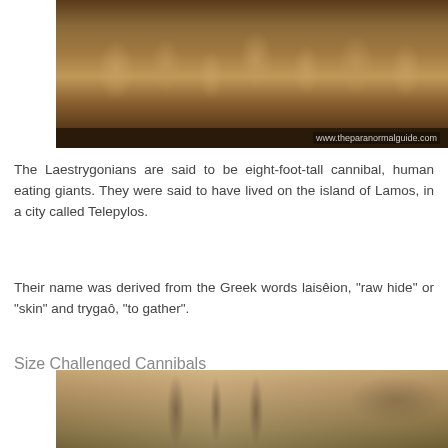[Figure (illustration): Ancient painting or fresco depicting multiple human figures in a landscape scene, with watermark 'www.theparanormalguide.com' in lower right corner]
The Laestrygonians are said to be eight-foot-tall cannibal, human eating giants. They were said to have lived on the island of Lamos, in a city called Telepylos.
Their name was derived from the Greek words laisêion, "raw hide" or "skin" and trygaô, "to gather".
Size Challenged Cannibals
[Figure (illustration): Ancient painting depicting a harbor or coastal scene with ships and masts visible, mountains in the background]